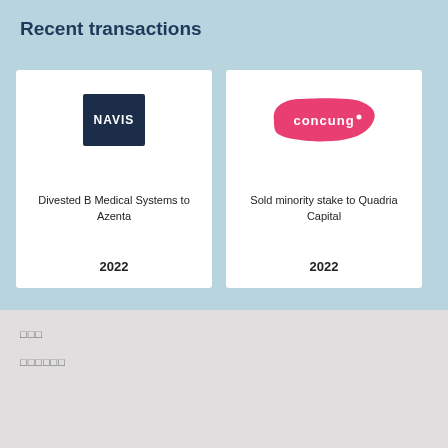Recent transactions
[Figure (logo): NAVIS logo - dark navy blue square with white NAVIS text]
Divested B Medical Systems to Azenta
2022
[Figure (logo): Concung logo - pink/magenta speech bubble shape with white 'concung' text]
Sold minority stake to Quadria Capital
2022
□□□
□□□□□□